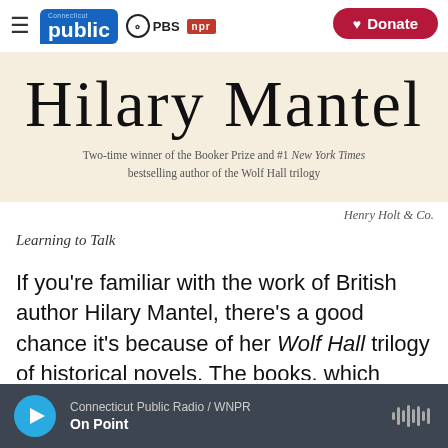Connecticut Public | PBS | NPR | Donate
[Figure (illustration): Book cover banner showing author name 'Hilary Mantel' in large serif font on cream background, with subtitle: Two-time winner of the Booker Prize and #1 New York Times bestselling author of the Wolf Hall trilogy]
Henry Holt & Co.
Learning to Talk
If you're familiar with the work of British author Hilary Mantel, there's a good chance it's because of her Wolf Hall trilogy of historical novels. The books, which chronicle the life of King Henry VIII's chief minister Thomas Cromwell, are bona fide page-
Connecticut Public Radio / WNPR | On Point